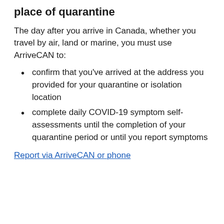place of quarantine
The day after you arrive in Canada, whether you travel by air, land or marine, you must use ArriveCAN to:
confirm that you've arrived at the address you provided for your quarantine or isolation location
complete daily COVID-19 symptom self-assessments until the completion of your quarantine period or until you report symptoms
Report via ArriveCAN or phone